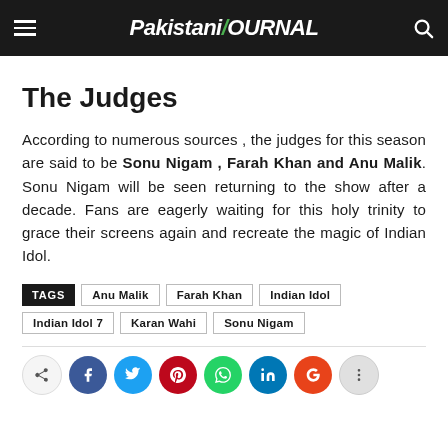Pakistani Journal
The Judges
According to numerous sources , the judges for this season are said to be Sonu Nigam , Farah Khan and Anu Malik. Sonu Nigam will be seen returning to the show after a decade. Fans are eagerly waiting for this holy trinity to grace their screens again and recreate the magic of Indian Idol.
TAGS: Anu Malik, Farah Khan, Indian Idol, Indian Idol 7, Karan Wahi, Sonu Nigam